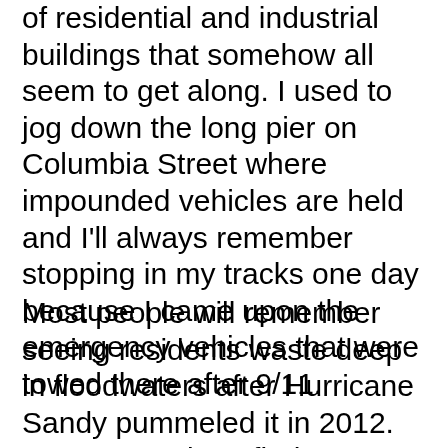of residential and industrial buildings that somehow all seem to get along. I used to jog down the long pier on Columbia Street where impounded vehicles are held and I'll always remember stopping in my tracks one day because I came upon the emergency vehicles that were towed there after 9/11.
Most people will remember seeing residents waste deep in floodwaters after Hurricane Sandy pummeled it in 2012. But New Yorkers find a way to rise above adversity and Red Hook is